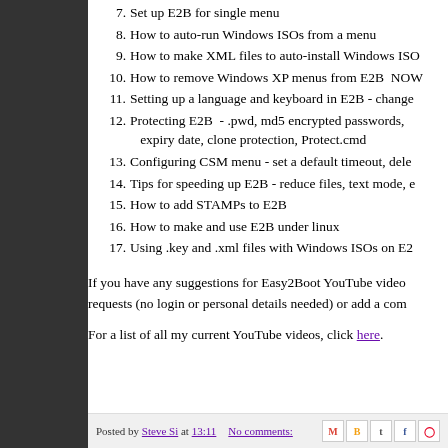7. Set up E2B for single menu
8. How to auto-run Windows ISOs from a menu
9. How to make XML files to auto-install Windows ISO
10. How to remove Windows XP menus from E2B  NOW
11. Setting up a language and keyboard in E2B - change
12. Protecting E2B  - .pwd, md5 encrypted passwords, expiry date, clone protection, Protect.cmd
13. Configuring CSM menu - set a default timeout, dele
14. Tips for speeding up E2B - reduce files, text mode, e
15. How to add STAMPs to E2B
16. How to make and use E2B under linux
17. Using .key and .xml files with Windows ISOs on E2
If you have any suggestions for Easy2Boot YouTube video requests (no login or personal details needed) or add a com
For a list of all my current YouTube videos, click here.
Posted by Steve Si at 13:11    No comments: